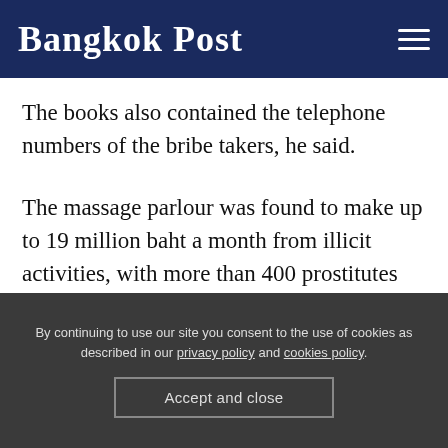Bangkok Post
The books also contained the telephone numbers of the bribe takers, he said.
The massage parlour was found to make up to 19 million baht a month from illicit activities, with more than 400 prostitutes working in rotation to service customers, he said.
By continuing to use our site you consent to the use of cookies as described in our privacy policy and cookies policy.
Accept and close